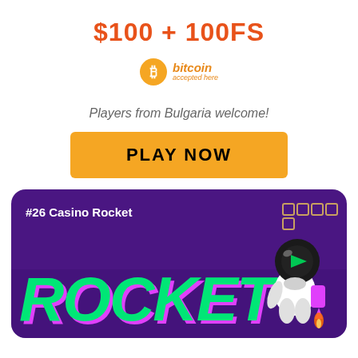$100 + 100FS
[Figure (logo): Bitcoin accepted here logo with orange Bitcoin symbol]
Players from Bulgaria welcome!
PLAY NOW
[Figure (infographic): Casino Rocket promotional card with purple background, #26 Casino Rocket label, 5-star rating boxes, large green ROCKET text with pink shadow, and astronaut mascot with play button head]